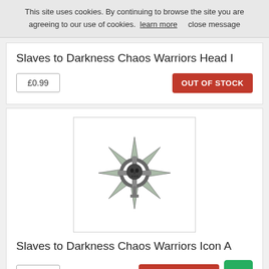This site uses cookies. By continuing to browse the site you are agreeing to our use of cookies. learn more   close message
Slaves to Darkness Chaos Warriors Head I
£0.99
OUT OF STOCK
[Figure (illustration): Chaos star icon with skull at center, sharp points radiating outward, grey metallic appearance]
Slaves to Darkness Chaos Warriors Icon A
£0.99
OUT OF STOCK